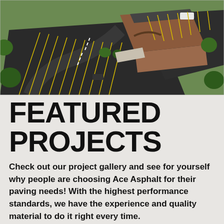[Figure (photo): Aerial drone photograph of a commercial building with a large asphalt parking lot with yellow striped spaces, surrounded by green lawns and trees. Brick building visible in background-right.]
FEATURED PROJECTS
Check out our project gallery and see for yourself why people are choosing Ace Asphalt for their paving needs! With the highest performance standards, we have the experience and quality material to do it right every time.
VIEW GALLERY